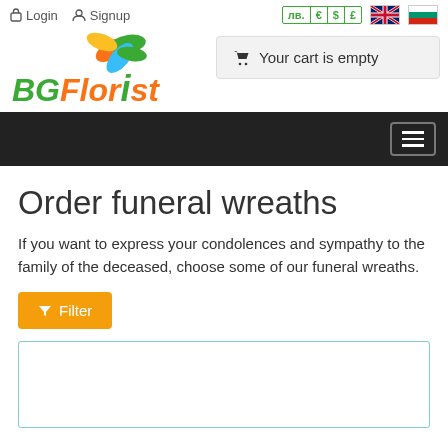Login  Signup  лв. € $ £  [UK flag] [BG flag]
[Figure (logo): BGFlorist logo with colorful flower leaves and italic green/orange text]
Your cart is empty
[Figure (screenshot): Dark navigation bar with hamburger menu icon]
Order funeral wreaths
If you want to express your condolences and sympathy to the family of the deceased, choose some of our funeral wreaths.
Filter